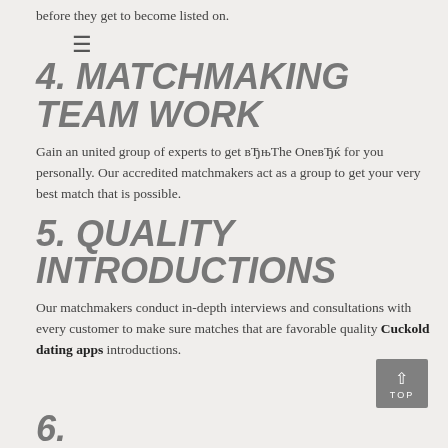before they get to become listed on.
4. MATCHMAKING TEAM WORK
Gain an united group of experts to get вЂњThe OneвЂќ for you personally. Our accredited matchmakers act as a group to get your very best match that is possible.
5. QUALITY INTRODUCTIONS
Our matchmakers conduct in-depth interviews and consultations with every customer to make sure matches that are favorable quality Cuckold dating apps introductions.